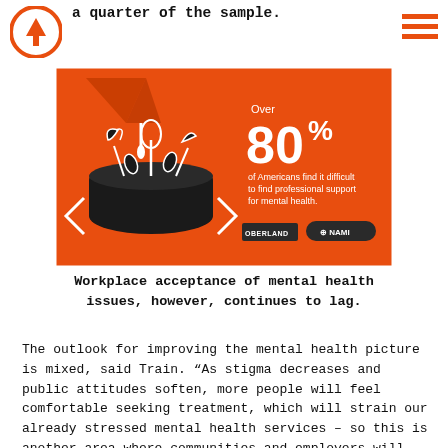a quarter of the sample.
[Figure (infographic): Orange background infographic showing a large black bucket/cauldron with stylized white line art plants/flowers growing from it, and a funnel/bottle dripping into it. Text reads: Over 80% of Americans find it difficult to find professional support for mental health. Logos: OBERLAND and NAMI.]
Workplace acceptance of mental health issues, however, continues to lag.
The outlook for improving the mental health picture is mixed, said Train. “As stigma decreases and public attitudes soften, more people will feel comfortable seeking treatment, which will strain our already stressed mental health services – so this is another area where communities and employers will need to focus